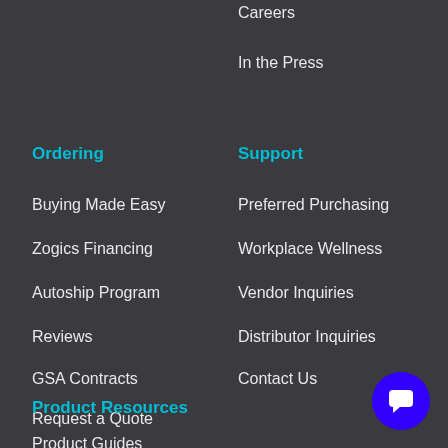Careers
In the Press
Ordering
Buying Made Easy
Zogics Financing
Autoship Program
Reviews
GSA Contracts
Request a Quote
Shipping Info
Returns
Support
Preferred Purchasing
Workplace Wellness
Vendor Inquiries
Distributor Inquiries
Contact Us
Product Resources
Product Guides